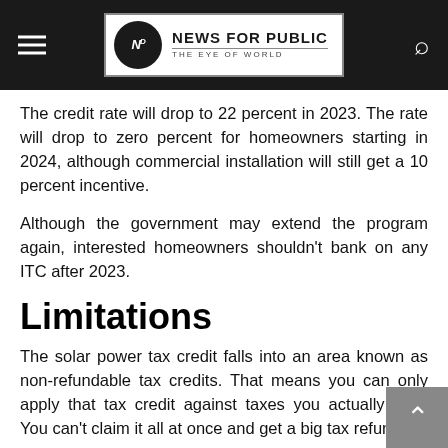NEWS FOR PUBLIC — THE EYE OF WORLD
The credit rate will drop to 22 percent in 2023. The rate will drop to zero percent for homeowners starting in 2024, although commercial installation will still get a 10 percent incentive.
Although the government may extend the program again, interested homeowners shouldn't bank on any ITC after 2023.
Limitations
The solar power tax credit falls into an area known as non-refundable tax credits. That means you can only apply that tax credit against taxes you actually owe. You can't claim it all at once and get a big tax refund.